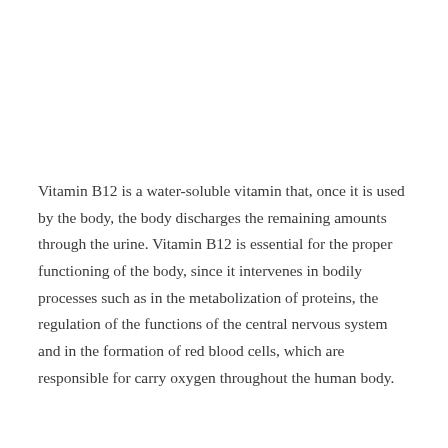Vitamin B12 is a water-soluble vitamin that, once it is used by the body, the body discharges the remaining amounts through the urine. Vitamin B12 is essential for the proper functioning of the body, since it intervenes in bodily processes such as in the metabolization of proteins, the regulation of the functions of the central nervous system and in the formation of red blood cells, which are responsible for carry oxygen throughout the human body.